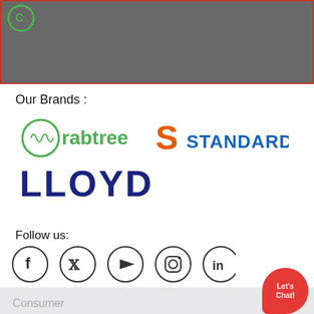[Figure (screenshot): Dark grey banner at top with red border outline, partially showing a logo icon]
Our Brands :
[Figure (logo): Crabtree logo in green with circular icon]
[Figure (logo): Standard logo with orange S and blue text STANDARD]
[Figure (logo): Lloyd logo in dark navy blue bold text]
Follow us:
[Figure (infographic): Social media icons in circles: Facebook, Twitter, YouTube, Instagram, LinkedIn]
Consumer
Industrial